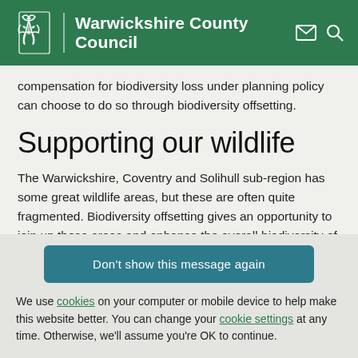Warwickshire County Council
compensation for biodiversity loss under planning policy can choose to do so through biodiversity offsetting.
Supporting our wildlife
The Warwickshire, Coventry and Solihull sub-region has some great wildlife areas, but these are often quite fragmented. Biodiversity offsetting gives an opportunity to join up these areas and enhance the overall biodiversity of the region's
Don't show this message again
We use cookies on your computer or mobile device to help make this website better. You can change your cookie settings at any time. Otherwise, we'll assume you're OK to continue.